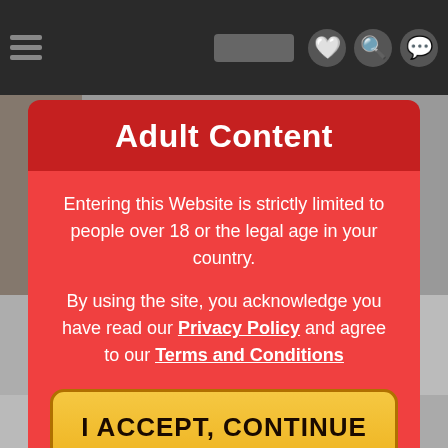[Figure (screenshot): Website background with dark navigation bar at top containing hamburger menu and icons, and blurred content below]
Adult Content
Entering this Website is strictly limited to people over 18 or the legal age in your country.
By using the site, you acknowledge you have read our Privacy Policy and agree to our Terms and Conditions
I ACCEPT, CONTINUE TO THE WEBSITE